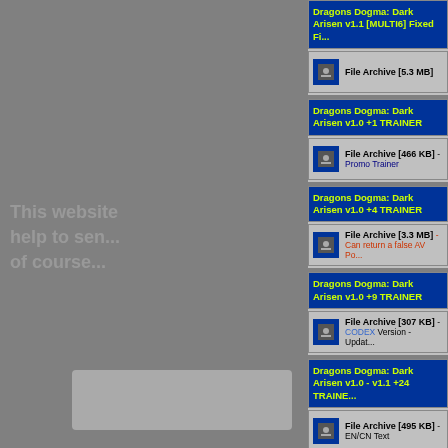Dragons Dogma: Dark Arisen v1.1 [MULTI6] Fixed Fi...
File Archive [5.3 MB]
Dragons Dogma: Dark Arisen v1.0 +1 TRAINER
File Archive [466 KB] - Promo Trainer
Dragons Dogma: Dark Arisen v1.0 +4 TRAINER
File Archive [3.3 MB] - Can return a false AV Po...
Dragons Dogma: Dark Arisen v1.0 +9 TRAINER
File Archive [307 KB] - CODEX Version - Updat...
Dragons Dogma: Dark Arisen v1.0 - v1.1 +24 TRAINE...
File Archive [495 KB] - EN/CN Text